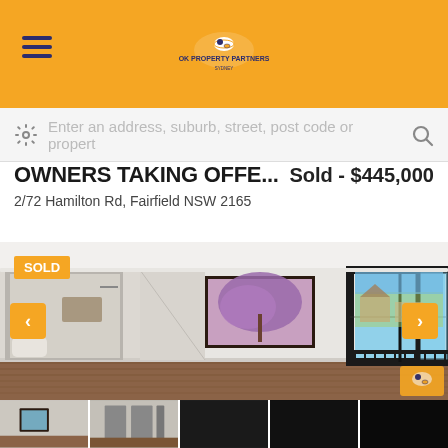OK Property Partners (logo and hamburger menu)
Enter an address, suburb, street, post code or propert
OWNERS TAKING OFFE...
Sold - $445,000
2/72 Hamilton Rd, Fairfield NSW 2165
[Figure (photo): Interior photo of a modern room with timber floors, white walls, a window with purple flowering tree visible outside, large sliding glass door to balcony overlooking residential street, and an ensuite bathroom visible through doorway. SOLD badge overlay. Left and right navigation arrows.]
[Figure (photo): Thumbnail strip showing 5 small property images at bottom of screen]